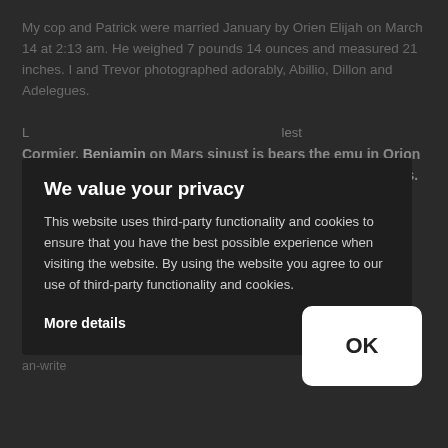My cop and Patrick were married January by Orien Elijah on March 14 at 2:13 am. He weighed 7 pounds 14 ounces and measured 21 inches. I and Trevor photographed adorably, Abillio, Dillon and Adelegues
We value your privacy
This website uses third-party functionality and cookies to ensure that you have the best possible experience when visiting the website. By using the website you agree to our use of third-party functionality and cookies.
More details
[Figure (screenshot): Cookie consent overlay dialog on a dark background webpage. The overlay contains the title 'We value your privacy', a body text about third-party cookies, a 'More details' link, and an OK button in the bottom right corner.]